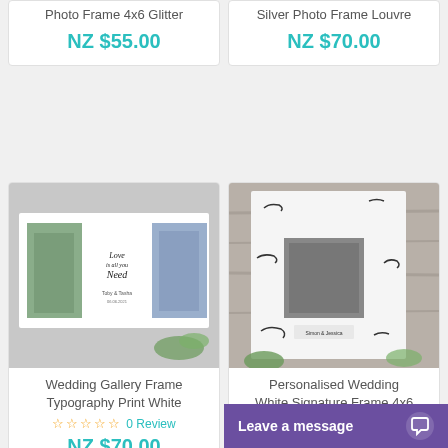Photo Frame 4x6 Glitter
NZ $55.00
Silver Photo Frame Louvre
NZ $70.00
[Figure (photo): Wedding gallery frame with two photos and 'Love is all you Need' typography print in white frame]
Wedding Gallery Frame Typography Print White
0 Review
NZ $70.00
[Figure (photo): Personalised wedding white signature frame 4x6 with signatures around a central photo on wood background]
Personalised Wedding White Signature Frame 4x6
NZ $60.00
Leave a message